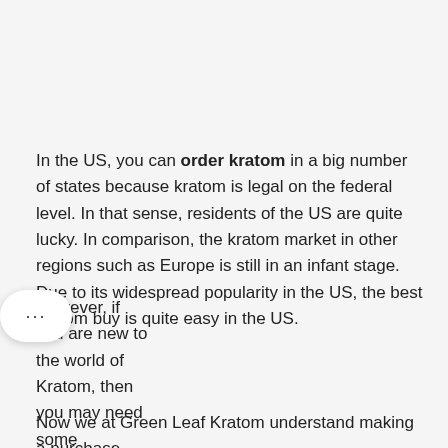In the US, you can order kratom in a big number of states because kratom is legal on the federal level. In that sense, residents of the US are quite lucky. In comparison, the kratom market in other regions such as Europe is still in an infant stage. Due to its widespread popularity in the US, the best kratom buy is quite easy in the US.
However, if you are new to the world of Kratom, then you may need some guidance and mentoring from those who have been buying this herb for years.
Now we at Green Leaf Kratom understand making a purchase